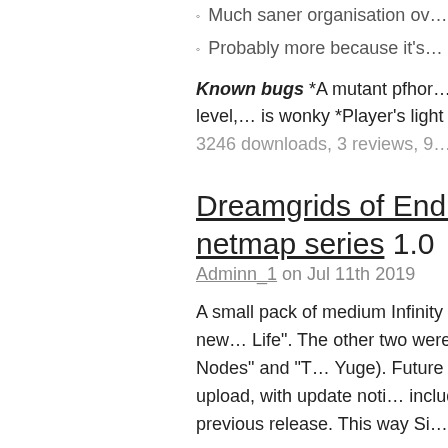Much saner organisation ov…
Probably more because it's…
Known bugs *A mutant pfhor… corridors in the epilogue level, … is wonky *Player's light is too d…
3246 downloads, 3 reviews, 9…
Dreamgrids of Endless netmap series 1.0
Adminn_1 on Jul 11th 2019
A small pack of medium Infinity updated continuously. The new… Life". The other two were previ… Havoc's Various Nodes" and "T… Yuge). Future netmaps made i… of this upload, with update noti… included in the description for … previous release. This way Si… "spammed".